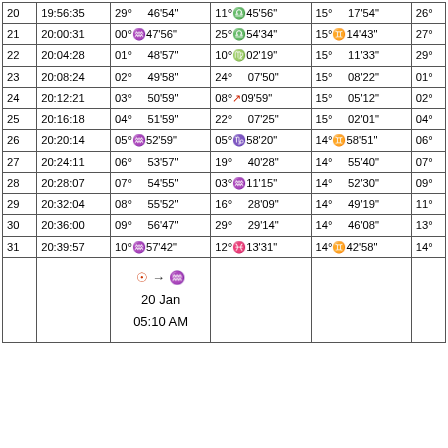| Day | Time | Col3 | Col4 | Col5 | Col6 |
| --- | --- | --- | --- | --- | --- |
| 20 | 19:56:35 | 29° 46'54" | 11°♎45'56" | 15° 17'54" | 26° |
| 21 | 20:00:31 | 00°♒47'56" | 25°♎54'34" | 15° ♊ 14'43" | 27° |
| 22 | 20:04:28 | 01° 48'57" | 10°♍02'19" | 15° 11'33" | 29° |
| 23 | 20:08:24 | 02° 49'58" | 24° 07'50" | 15° 08'22" | 01° |
| 24 | 20:12:21 | 03° 50'59" | 08°↗09'59" | 15° 05'12" | 02° |
| 25 | 20:16:18 | 04° 51'59" | 22° 07'25" | 15° 02'01" | 04° |
| 26 | 20:20:14 | 05°♒52'59" | 05°♑58'20" | 14° ♊ 58'51" | 06° |
| 27 | 20:24:11 | 06° 53'57" | 19° 40'28" | 14° 55'40" | 07° |
| 28 | 20:28:07 | 07° 54'55" | 03°♒11'15" | 14° 52'30" | 09° |
| 29 | 20:32:04 | 08° 55'52" | 16° 28'09" | 14° 49'19" | 11° |
| 30 | 20:36:00 | 09° 56'47" | 29° 29'14" | 14° 46'08" | 13° |
| 31 | 20:39:57 | 10°♒57'42" | 12°♓13'31" | 14° ♊ 42'58" | 14° |
☉ → ♒ 20 Jan 05:10 AM